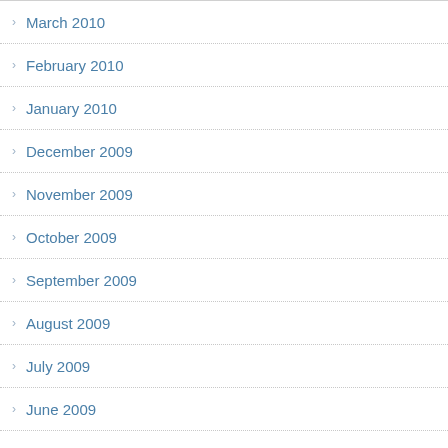March 2010
February 2010
January 2010
December 2009
November 2009
October 2009
September 2009
August 2009
July 2009
June 2009
May 2009
April 2009
March 2009
February 2009
January 2009
December 2008